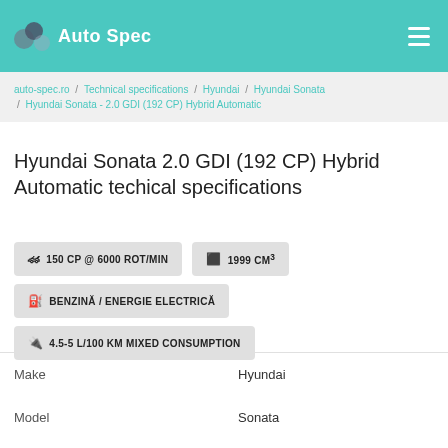Auto Spec
auto-spec.ro / Technical specifications / Hyundai / Hyundai Sonata / Hyundai Sonata - 2.0 GDI (192 CP) Hybrid Automatic
Hyundai Sonata 2.0 GDI (192 CP) Hybrid Automatic techical specifications
150 CP @ 6000 ROT/MIN
1999 CM³
BENZINĂ / ENERGIE ELECTRICĂ
4.5-5 L/100 KM MIXED CONSUMPTION
|  |  |
| --- | --- |
| Make | Hyundai |
| Model | Sonata |